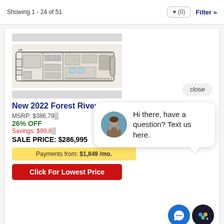Showing 1 - 24 of 51
[Figure (illustration): RV floor plan layout showing interior room arrangement of the Forest River RV Berkshire 34B]
New 2022 Forest River RV Berkshire 34B
MSRP: $386,79...
26% OFF
Savings: $99,80...
SALE PRICE: $286,995
Payments from: $1,849 /mo.
Click For Lowest Price
close
Hi there, have a question? Text us here.